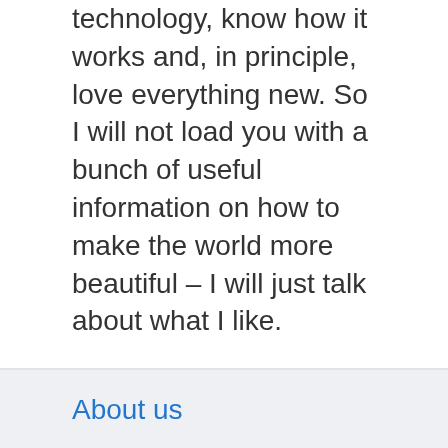technology, know how it works and, in principle, love everything new. So I will not load you with a bunch of useful information on how to make the world more beautiful – I will just talk about what I like.
About us
Contact
Privacy Policy & Cookies
ATTENTION TO RIGHT HOLDERS! All materials are posted on the site strictly for informational and educational purposes! If you believe that the posting of any material infringes your copyright, be sure to contact